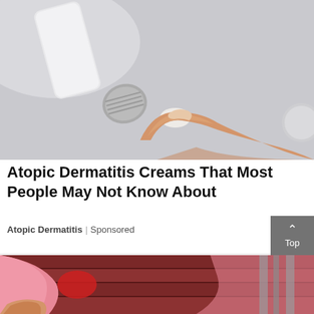[Figure (photo): A hand squeezing cream out of a tube onto a fingertip, close-up shot with soft grey background]
Atopic Dermatitis Creams That Most People May Not Know About
Atopic Dermatitis | Sponsored
[Figure (photo): Partial view of a child in pink clothing near what appears to be a wooden surface, lower portion of page]